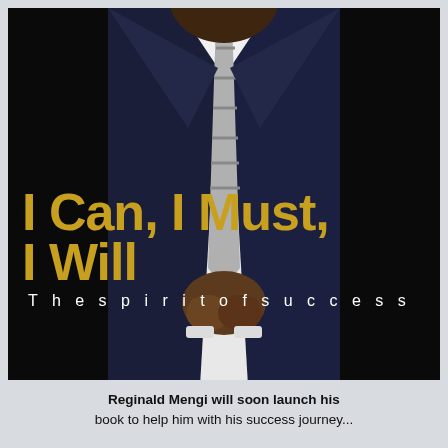[Figure (photo): Book cover for 'I Can, I Must, I Will – The spirit of success' by Reginald Mengi. Shows a Black man in a dark navy pinstripe suit with a striped tie, hands clasped in front, against a dark background. Gold bold title text overlays the lower-middle of the image with white subtitle text underneath.]
Reginald Mengi will soon launch his book...